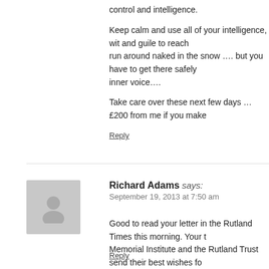control and intelligence.
Keep calm and use all of your intelligence, wit and guile to reach … run around naked in the snow …. but you have to get there safely … inner voice….
Take care over these next few days … £200 from me if you make…
Reply
Richard Adams says:
September 19, 2013 at 7:50 am
Good to read your letter in the Rutland Times this morning. Your … Memorial Institute and the Rutland Trust send their best wishes fo…
Reply
james ogilvie says:
September 19, 2013 at 9:56 am